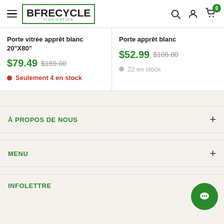BF RECYCLE — Navigation header with logo, search, account, and cart icons
Porte vitrée apprêt blanc 20"X80"
$79.49  $159.00
Seulement 4 en stock
Porte apprêt blanc
$52.99  $106.00
22 en stock
À PROPOS DE NOUS
MENU
INFOLETTRE